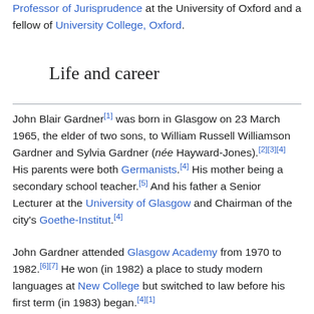Professor of Jurisprudence at the University of Oxford and a fellow of University College, Oxford.
Life and career
John Blair Gardner[1] was born in Glasgow on 23 March 1965, the elder of two sons, to William Russell Williamson Gardner and Sylvia Gardner (née Hayward-Jones).[2][3][4] His parents were both Germanists.[4] His mother being a secondary school teacher.[5] And his father a Senior Lecturer at the University of Glasgow and Chairman of the city's Goethe-Institut.[4]
John Gardner attended Glasgow Academy from 1970 to 1982.[6][7] He won (in 1982) a place to study modern languages at New College but switched to law before his first term (in 1983) began.[4][1]